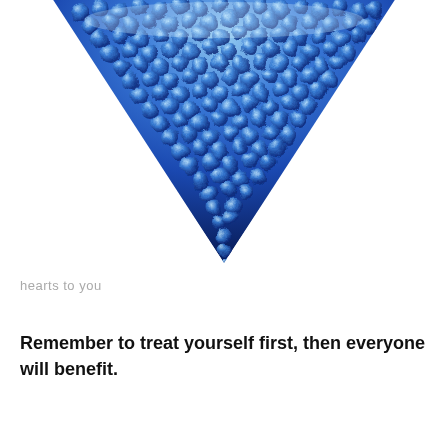[Figure (illustration): A downward-pointing triangle shape made of blue glass or crystal beads/bubbles, shimmering with light blue and dark blue tones, on a white background. The triangle is widest at the top and tapers to a point at the bottom center.]
hearts to you
Remember to treat yourself first, then everyone will benefit.